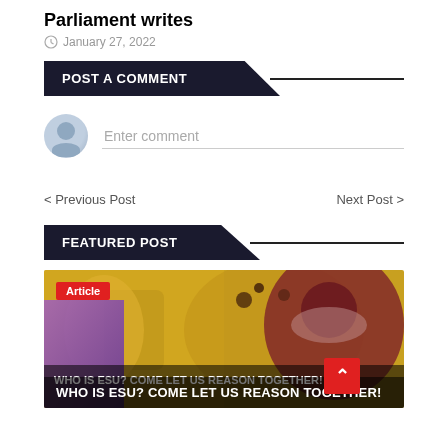Parliament writes
January 27, 2022
POST A COMMENT
Enter comment
< Previous Post
Next Post >
FEATURED POST
[Figure (photo): Colorful artistic illustration of a figure with decorative headwear on a yellow background with birds, with a red 'Article' tag overlay and title 'WHO IS ESU? COME LET US REASON TOGETHER!']